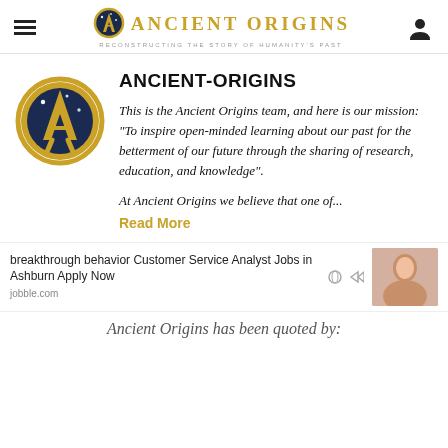Ancient Origins — Reconstructing the Story of Humanity's Past
[Figure (logo): Ancient Origins circular logo — dark blue circle with gold 'A' symbol and stars, gold ring border]
ANCIENT-ORIGINS
This is the Ancient Origins team, and here is our mission: "To inspire open-minded learning about our past for the betterment of our future through the sharing of research, education, and knowledge".
At Ancient Origins we believe that one of...
Read More
breakthrough behavior Customer Service Analyst Jobs in Ashburn Apply Now
jobble.com
Ancient Origins has been quoted by: